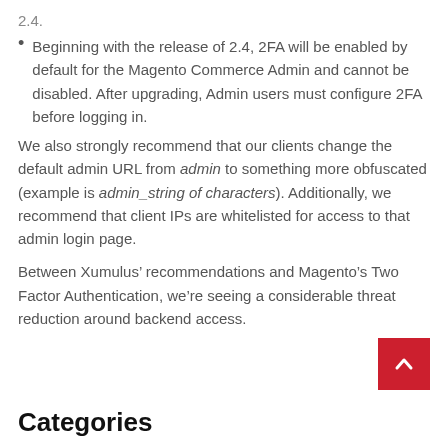2.4.
Beginning with the release of 2.4, 2FA will be enabled by default for the Magento Commerce Admin and cannot be disabled. After upgrading, Admin users must configure 2FA before logging in.
We also strongly recommend that our clients change the default admin URL from admin to something more obfuscated (example is admin_string of characters). Additionally, we recommend that client IPs are whitelisted for access to that admin login page.
Between Xumulus’ recommendations and Magento’s Two Factor Authentication, we’re seeing a considerable threat reduction around backend access.
Categories